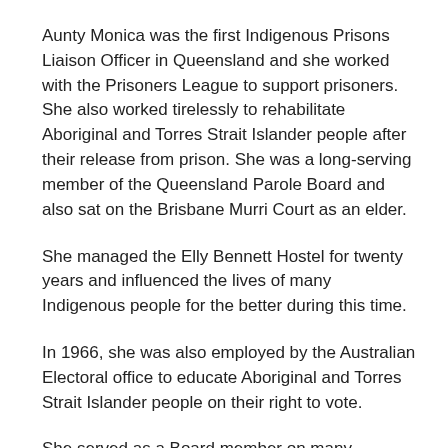Aunty Monica was the first Indigenous Prisons Liaison Officer in Queensland and she worked with the Prisoners League to support prisoners.  She also worked tirelessly to rehabilitate Aboriginal and Torres Strait Islander people after their release from prison.  She was a long-serving member of the Queensland Parole Board and also sat on the Brisbane Murri Court as an elder.
She managed the Elly Bennett Hostel for twenty years and influenced the lives of many Indigenous people for the better during this time.
In 1966, she was also employed by the Australian Electoral office to educate Aboriginal and Torres Strait Islander people on their right to vote.
She served as a Board member on many Indigenous organisations including OPAL, Murri Watch, Bahloo,